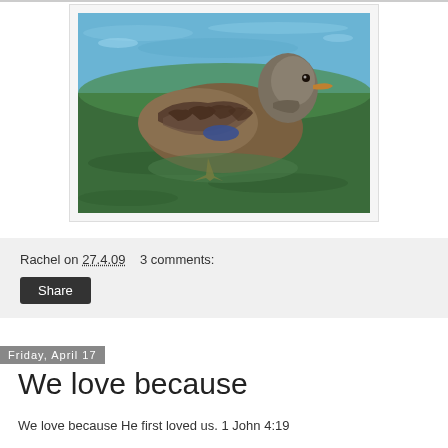[Figure (photo): A mallard duck swimming in water with blue and green rippled water background. The duck has brown/grey mottled feathers and an orange beak, facing right.]
Rachel on 27.4.09   3 comments:
Share
Friday, April 17
We love because
We love because He first loved us. 1 John 4:19